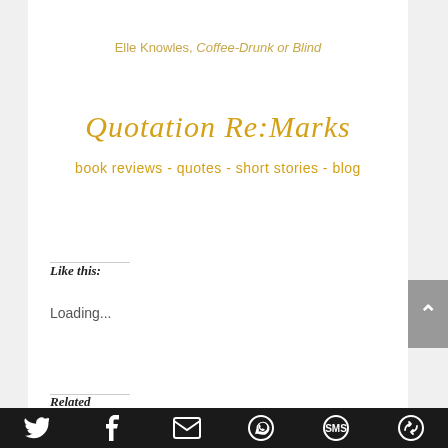Elle Knowles, Coffee-Drunk or Blind
Quotation Re:Marks
book reviews - quotes - short stories - blog
Like this:
Loading...
Related
Twitter | Facebook | Email | WhatsApp | SMS | Share